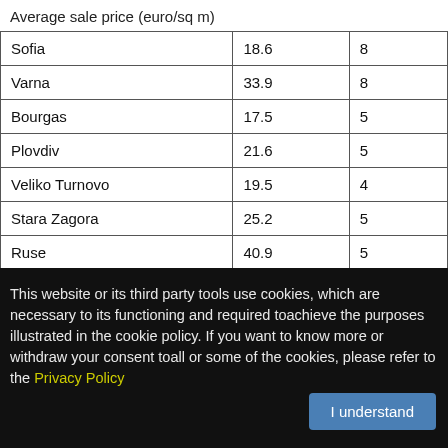Average sale price (euro/sq m)
| Sofia | 18.6 | 8... |
| Varna | 33.9 | 8... |
| Bourgas | 17.5 | 5... |
| Plovdiv | 21.6 | 5... |
| Veliko Turnovo | 19.5 | 4... |
| Stara Zagora | 25.2 | 5... |
| Ruse | 40.9 | 5... |
| Pleven | 30.5 | 4... |
This website or its third party tools use cookies, which are necessary to its functioning and required toachieve the purposes illustrated in the cookie policy. If you want to know more or withdraw your consent toall or some of the cookies, please refer to the Privacy Policy
I understand